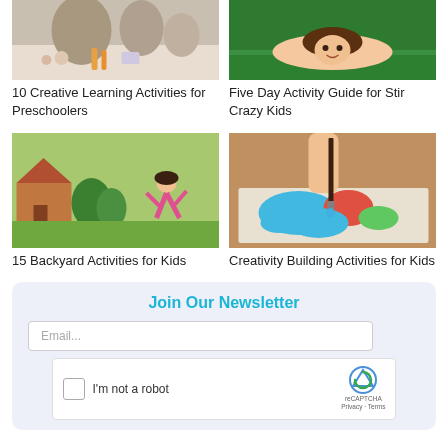[Figure (photo): Two women and a toddler doing crafts at a table with carrots and colored items]
10 Creative Learning Activities for Preschoolers
[Figure (photo): Child lying on grass looking at camera]
Five Day Activity Guide for Stir Crazy Kids
[Figure (photo): Girl doing a cartwheel in a backyard garden]
15 Backyard Activities for Kids
[Figure (photo): Child painting a colorful world map with a brush]
Creativity Building Activities for Kids
Join Our Newsletter
Email...
I'm not a robot
reCAPTCHA
Privacy - Terms